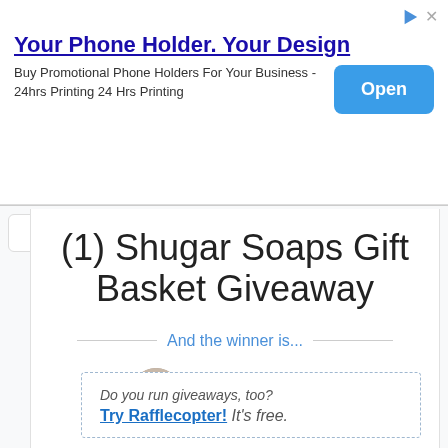[Figure (screenshot): Advertisement banner: 'Your Phone Holder. Your Design' with Open button and ad icons]
(1) Shugar Soaps Gift Basket Giveaway
And the winner is...
Carolyn G.
Do you run giveaways, too? Try Rafflecopter! It's free.